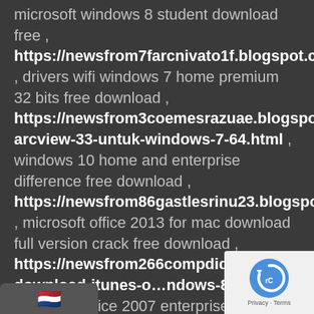microsoft windows 8 student download free , https://newsfrom7farcnivato1f.blogspot.com , drivers wifi windows 7 home premium 32 bits free download , https://newsfrom3coemesrazuae.blogspot.com/2022/03/download-arcview-33-untuk-windows-7-64.html , windows 10 home and enterprise difference free download , https://newsfrom86gastlesrinu23.blogspot.com , microsoft office 2013 for mac download full version crack free download , https://newsfrom266compdidiusuqm.blogspot.com/2022/03/cannot-download-itunes-o…ndows-8.html , microsoft office 2007 enterprise key free
[Figure (illustration): Dutch flag emoji in a dark rounded rectangle bar at the bottom left]
[Figure (logo): Google reCAPTCHA logo with Privacy - Terms text in a white rounded box at the bottom right]